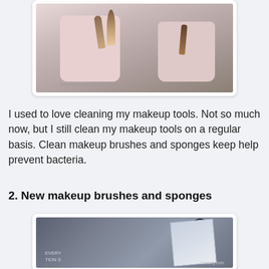[Figure (photo): Photo of two pink cylindrical makeup brush holders filled with various makeup brushes, shown from above at an angle. The holders are a pale pink/blush color.]
I used to love cleaning my makeup tools. Not so much now, but I still clean my makeup tools on a regular basis. Clean makeup brushes and sponges keep help prevent bacteria.
2. New makeup brushes and sponges
[Figure (photo): Photo of new makeup brushes in packaging, shown inside a car. The brushes appear dark/black and are in clear plastic packaging.]